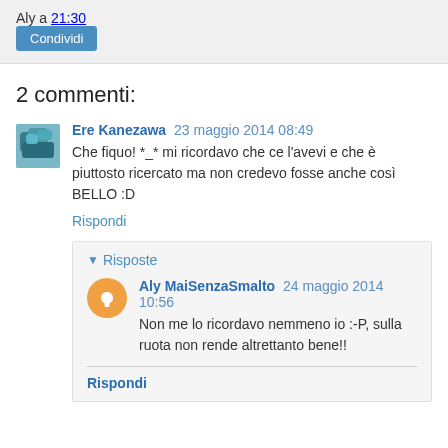Aly a 21:30
Condividi
2 commenti:
Ere Kanezawa 23 maggio 2014 08:49
Che fiquo! *_* mi ricordavo che ce l'avevi e che è piuttosto ricercato ma non credevo fosse anche così BELLO :D
Rispondi
▾ Risposte
Aly MaiSenzaSmalto 24 maggio 2014 10:56
Non me lo ricordavo nemmeno io :-P, sulla ruota non rende altrettanto bene!!
Rispondi